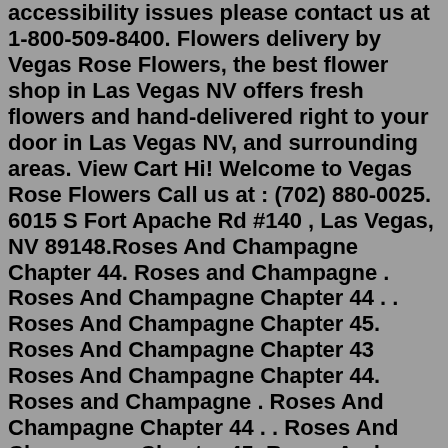accessibility issues please contact us at 1-800-509-8400. Flowers delivery by Vegas Rose Flowers, the best flower shop in Las Vegas NV offers fresh flowers and hand-delivered right to your door in Las Vegas NV, and surrounding areas. View Cart Hi! Welcome to Vegas Rose Flowers Call us at : (702) 880-0025. 6015 S Fort Apache Rd #140 , Las Vegas, NV 89148.Roses And Champagne Chapter 44. Roses and Champagne . Roses And Champagne Chapter 44 . . Roses And Champagne Chapter 45. Roses And Champagne Chapter 43 Roses And Champagne Chapter 44. Roses and Champagne . Roses And Champagne Chapter 44 . . Roses And Champagne Chapter 45. Roses And Champagne Chapter 43Read Roses and Champagne - Chapter 44 - MangaBuddy. Lee Won, who works as a poor lawyer in Russia, visits City Councilor Zdanov, who is in conflict over Nikolai's commission, and there he meets the mafia boss, Caesar. Behind City Councilor Zdanov, there was a mafia involved. manhwachill.me Roses and Champagne. Chapter 44. Lee Won, who works as a